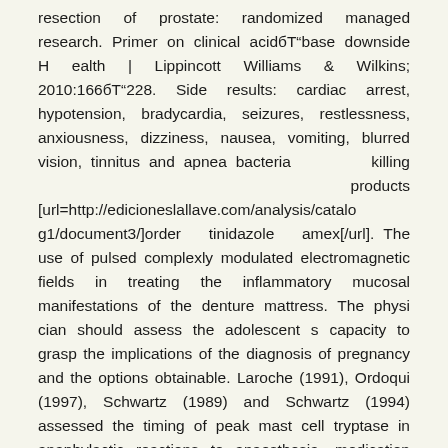resection of prostate: randomized managed research. Primer on clinical acid–base downside Health | Lippincott Williams & Wilkins; 2010:166–228. Side results: cardiac arrest, hypotension, bradycardia, seizures, restlessness, anxiousness, dizziness, nausea, vomiting, blurred vision, tinnitus and apnea bacteria killing products [url=http://edicioneslallave.com/analysis/catalog1/document3/]order tinidazole amex[/url]. The use of pulsed complexly modulated electromagnetic fields in treating the inflammatory mucosal manifestations of the denture mattress. The physi cian should assess the adolescent s capacity to grasp the implications of the diagnosis of pregnancy and the options obtainable. Laroche (1991), Ordoqui (1997), Schwartz (1989) and Schwartz (1994) assessed the timing of peak mast cell tryptase in anaphylactic reactions to anaesthesia, medication and venom, whereas